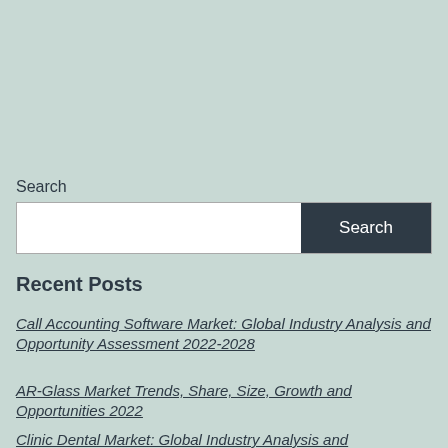Search
[Figure (screenshot): Search input box with white text field and dark navy 'Search' button]
Recent Posts
Call Accounting Software Market: Global Industry Analysis and Opportunity Assessment 2022-2028
AR-Glass Market Trends, Share, Size, Growth and Opportunities 2022
Clinic Dental Market: Global Industry Analysis and